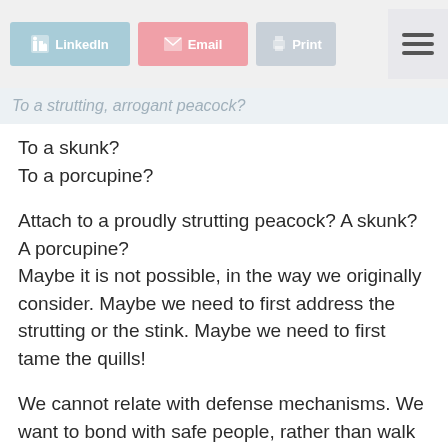LinkedIn  Email  Print
To a strutting, arrogant peacock?
To a skunk?
To a porcupine?
Attach to a proudly strutting peacock? A skunk? A porcupine?
Maybe it is not possible, in the way we originally consider. Maybe we need to first address the strutting or the stink. Maybe we need to first tame the quills!
We cannot relate with defense mechanisms. We want to bond with safe people, rather than walk on egg shells pretending to love